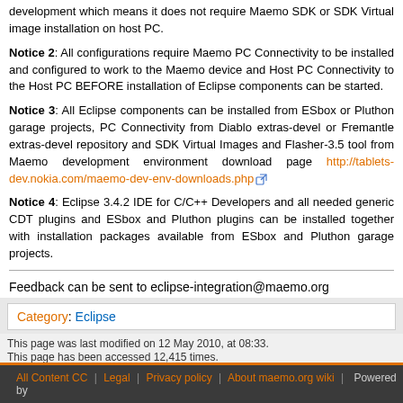development which means it does not require Maemo SDK or SDK Virtual image installation on host PC.
Notice 2: All configurations require Maemo PC Connectivity to be installed and configured to work to the Maemo device and Host PC Connectivity to the Host PC BEFORE installation of Eclipse components can be started.
Notice 3: All Eclipse components can be installed from ESbox or Pluthon garage projects, PC Connectivity from Diablo extras-devel or Fremantle extras-devel repository and SDK Virtual Images and Flasher-3.5 tool from Maemo development environment download page http://tablets-dev.nokia.com/maemo-dev-env-downloads.php
Notice 4: Eclipse 3.4.2 IDE for C/C++ Developers and all needed generic CDT plugins and ESbox and Pluthon plugins can be installed together with installation packages available from ESbox and Pluthon garage projects.
Feedback can be sent to eclipse-integration@maemo.org
Category: Eclipse
This page was last modified on 12 May 2010, at 08:33.
This page has been accessed 12,415 times.
All Content CC | Legal | Privacy policy | About maemo.org wiki | Powered by